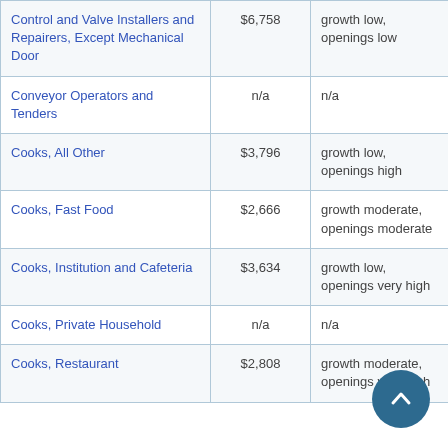| Control and Valve Installers and Repairers, Except Mechanical Door | $6,758 | growth low, openings low |
| Conveyor Operators and Tenders | n/a | n/a |
| Cooks, All Other | $3,796 | growth low, openings high |
| Cooks, Fast Food | $2,666 | growth moderate, openings moderate |
| Cooks, Institution and Cafeteria | $3,634 | growth low, openings very high |
| Cooks, Private Household | n/a | n/a |
| Cooks, Restaurant | $2,808 | growth moderate, openings very high |